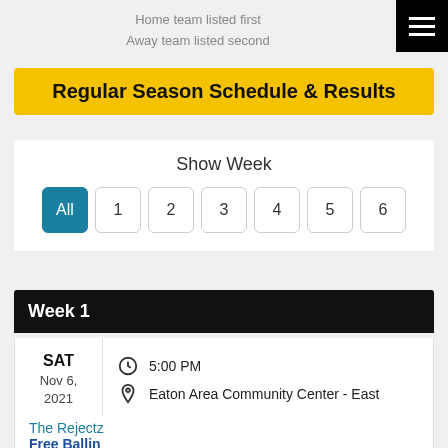Home team listed first
Away team listed second
Regular Season Schedule & Results
Show Week
All 1 2 3 4 5 6
Week 1
SAT
Nov 6, 2021
5:00 PM
Eaton Area Community Center - East
The Rejectz
Free Ballin
SAT
6:00 PM